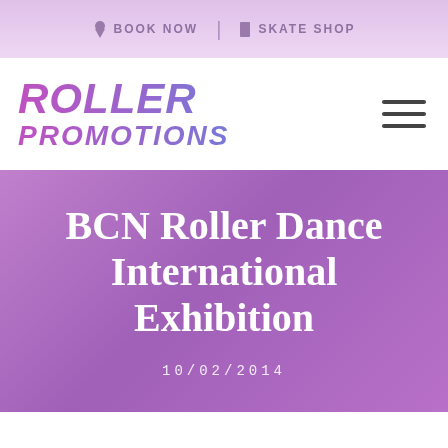BOOK NOW | SKATE SHOP
[Figure (logo): Roller Promotions logo with italic bold text in purple-blue gradient]
BCN Roller Dance International Exhibition
10/02/2014